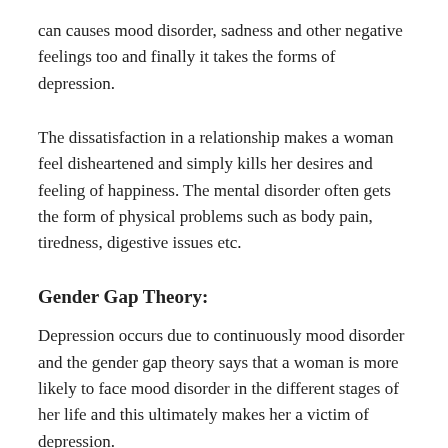can causes mood disorder, sadness and other negative feelings too and finally it takes the forms of depression.
The dissatisfaction in a relationship makes a woman feel disheartened and simply kills her desires and feeling of happiness. The mental disorder often gets the form of physical problems such as body pain, tiredness, digestive issues etc.
Gender Gap Theory:
Depression occurs due to continuously mood disorder and the gender gap theory says that a woman is more likely to face mood disorder in the different stages of her life and this ultimately makes her a victim of depression.